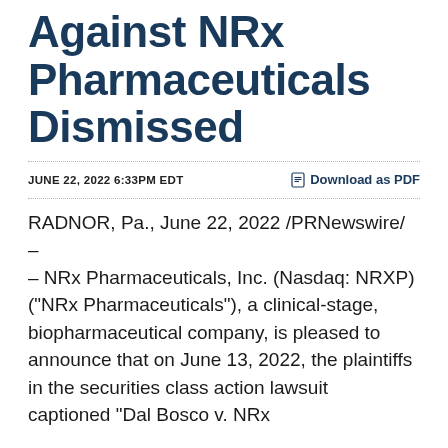Against NRx Pharmaceuticals Dismissed
JUNE 22, 2022 6:33PM EDT
Download as PDF
RADNOR, Pa., June 22, 2022 /PRNewswire/ – – NRx Pharmaceuticals, Inc. (Nasdaq: NRXP) ("NRx Pharmaceuticals"), a clinical-stage, biopharmaceutical company, is pleased to announce that on June 13, 2022, the plaintiffs in the securities class action lawsuit captioned "Dal Bosco v. NRx